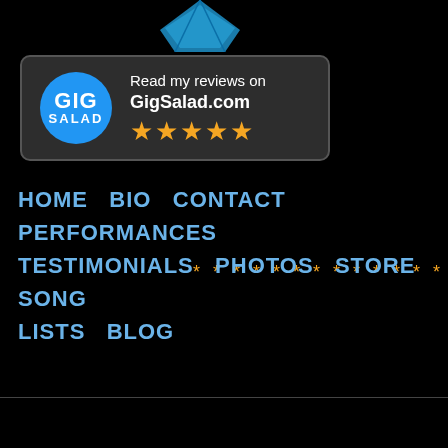[Figure (logo): Partial blue diamond/gem logo at top center]
[Figure (infographic): GigSalad badge with blue circle logo saying GIG SALAD, text 'Read my reviews on GigSalad.com', and five gold stars]
* * * * * * * * * * * * *
HOME   BIO   CONTACT   PERFORMANCES   TESTIMONIALS   PHOTOS   STORE   SONG LISTS   BLOG